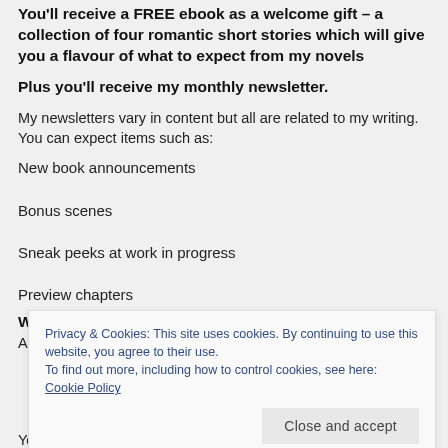You'll receive a FREE ebook as a welcome gift – a collection of four romantic short stories which will give you a flavour of what to expect from my novels
Plus you'll receive my monthly newsletter.
My newsletters vary in content but all are related to my writing. You can expect items such as:
New book announcements
Bonus scenes
Sneak peeks at work in progress
Preview chapters
What happens next?
After you've clicked the Subscribe Now button
Privacy & Cookies: This site uses cookies. By continuing to use this website, you agree to their use.
To find out more, including how to control cookies, see here: Cookie Policy
You'll hear from me approximately once a month.